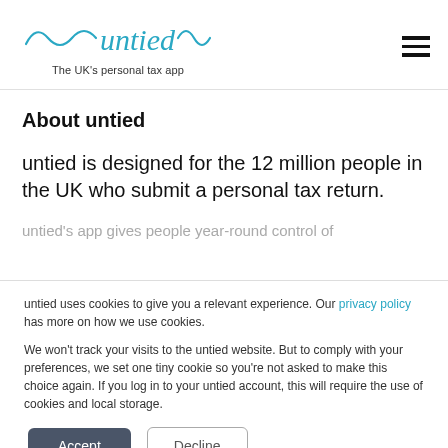untied — The UK's personal tax app
About untied
untied is designed for the 12 million people in the UK who submit a personal tax return.
untied's app gives people year-round control of
untied uses cookies to give you a relevant experience. Our privacy policy has more on how we use cookies.

We won't track your visits to the untied website. But to comply with your preferences, we set one tiny cookie so you're not asked to make this choice again. If you log in to your untied account, this will require the use of cookies and local storage.
Accept | Decline